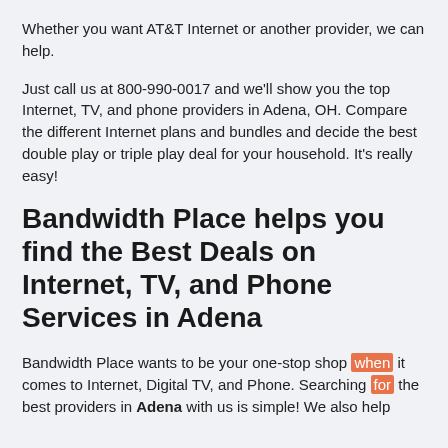Whether you want AT&T Internet or another provider, we can help.
Just call us at 800-990-0017 and we'll show you the top Internet, TV, and phone providers in Adena, OH. Compare the different Internet plans and bundles and decide the best double play or triple play deal for your household. It's really easy!
Bandwidth Place helps you find the Best Deals on Internet, TV, and Phone Services in Adena
Bandwidth Place wants to be your one-stop shop when it comes to Internet, Digital TV, and Phone. Searching for the best providers in Adena with us is simple! We also help